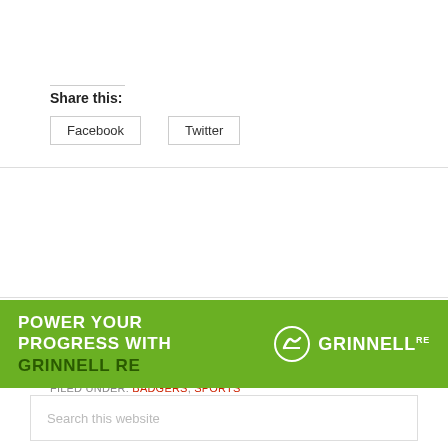Share this:
Facebook
Twitter
FILED UNDER: BADGERS, SPORTS
TAGGED WITH: BADGERS, BRETTE PETTET, WCHA
[Figure (other): Grinnell RE advertisement banner: green background with text POWER YOUR PROGRESS WITH GRINNELL RE and logo on the right]
Search this website